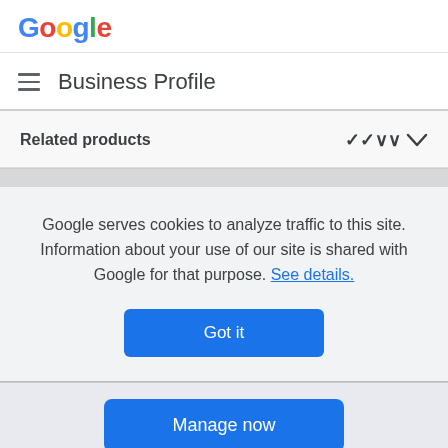[Figure (logo): Google logo in multicolor (blue, red, yellow, blue, green, red)]
Business Profile
Related products
Google serves cookies to analyze traffic to this site. Information about your use of our site is shared with Google for that purpose. See details.
Got it
Manage now